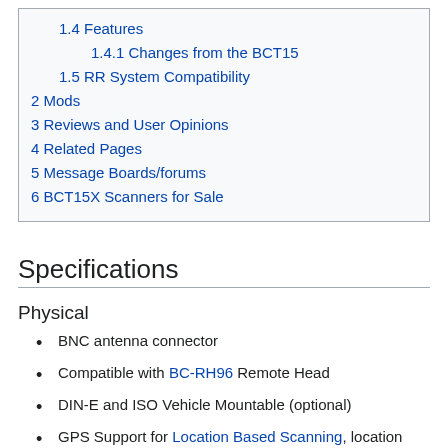1.4 Features
1.4.1 Changes from the BCT15
1.5 RR System Compatibility
2 Mods
3 Reviews and User Opinions
4 Related Pages
5 Message Boards/forums
6 BCT15X Scanners for Sale
Specifications
Physical
BNC antenna connector
Compatible with BC-RH96 Remote Head
DIN-E and ISO Vehicle Mountable (optional)
GPS Support for Location Based Scanning, location